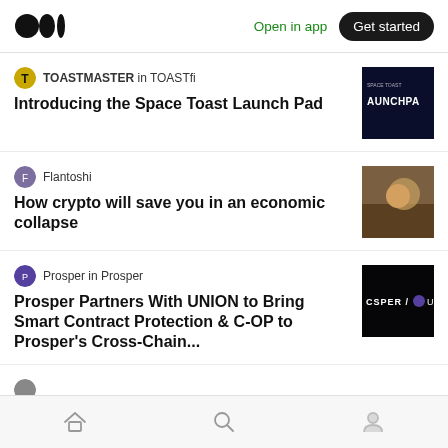Medium logo | Open in app | Get started
TOASTMASTER in TOASTfi — Introducing the Space Toast Launch Pad
Flantoshi — How crypto will save you in an economic collapse
Prosper in Prosper — Prosper Partners With UNION to Bring Smart Contract Protection & C-OP to Prosper's Cross-Chain...
Home | Search | Profile